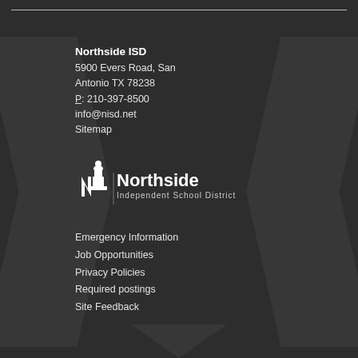Northside ISD
5900 Evers Road, San Antonio TX 78238
P: 210-397-8500
info@nisd.net
Sitemap
[Figure (logo): Northside Independent School District logo with stylized N figure and text]
Emergency Information
Job Opportunities
Privacy Policies
Required postings
Site Feedback